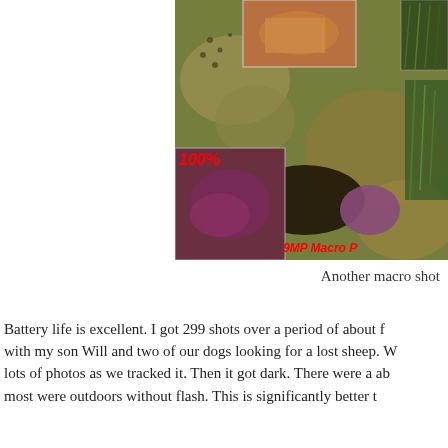[Figure (photo): Composite underwater macro photograph showing coral and sea creatures. Contains inset photos: top center showing orange/brown close-up, top right showing green coral, bottom left showing purple close-up labeled '100%'. Red text overlay reads '9MP Macro P' (cropped).]
Another macro shot
Battery life is excellent. I got 299 shots over a period of about f... with my son Will and two of our dogs looking for a lost sheep. W... lots of photos as we tracked it. Then it got dark. There were a ab... most were outdoors without flash. This is significantly better t...